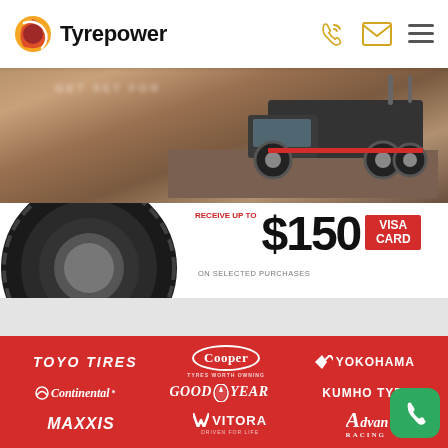Tyrepower
[Figure (photo): Hero banner with off-road truck driving on dirt road and a tyre in the foreground, with a $150 promotional price offer]
[Figure (logo): Brand logos section on red background: TOYO TIRES, Cooper Tyres Worth Owning, YOKOHAMA, Continental, GOODYEAR, KUMHO TYRE, MAXXIS, VITORA, Advance Racing]